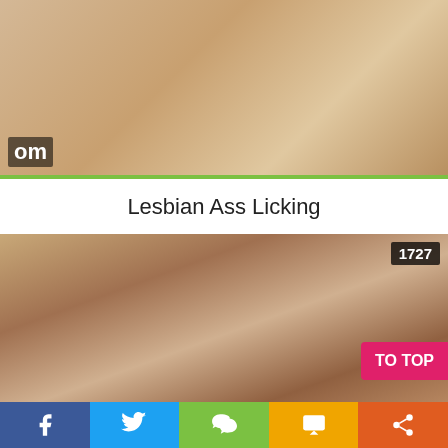[Figure (photo): Close-up photo of hands on a light beige/tan surface with partial watermark text 'om' visible at lower left]
Lesbian Ass Licking
[Figure (photo): Video thumbnail showing adult content, with view count '1727' in upper right corner and 'TO TOP' button in lower right]
f  [twitter bird]  [wechat]  SMS  [share icon]